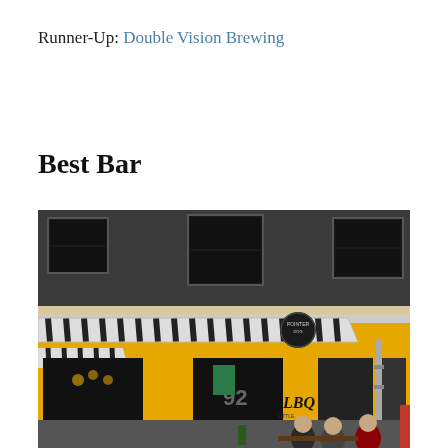Runner-Up: Double Vision Brewing
Best Bar
[Figure (photo): Exterior of a bar with a bright yellow facade, black and white striped awnings, and people seated outside. A sign reading 'LBQ' (Little Bar Quarter) is visible on the front.]